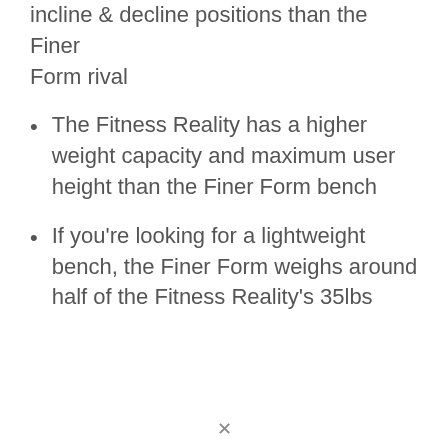incline & decline positions than the Finer Form rival
The Fitness Reality has a higher weight capacity and maximum user height than the Finer Form bench
If you're looking for a lightweight bench, the Finer Form weighs around half of the Fitness Reality's 35lbs